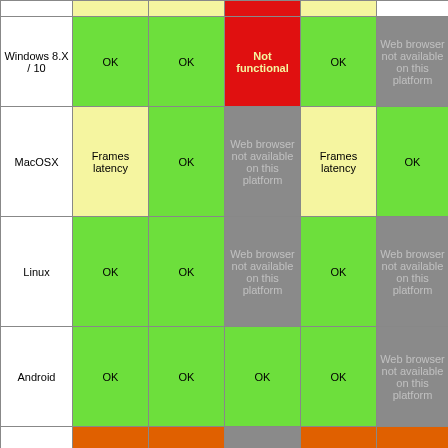|  |  |  |  |  |  |
| --- | --- | --- | --- | --- | --- |
| Windows 8.X / 10 | OK | OK | Not functional | OK | Web browser not available on this platform |
| MacOSX | Frames latency | OK | Web browser not available on this platform | Frames latency | OK |
| Linux | OK | OK | Web browser not available on this platform | OK | Web browser not available on this platform |
| Android | OK | OK | OK | OK | Web browser not available on this platform |